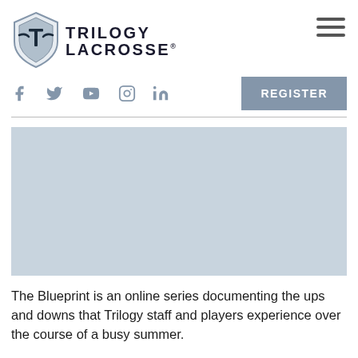[Figure (logo): Trilogy Lacrosse logo with shield icon and text]
[Figure (other): Hamburger menu icon (three horizontal lines)]
[Figure (other): Social media icons: Facebook, Twitter, YouTube, Instagram, LinkedIn]
[Figure (other): REGISTER button]
[Figure (photo): Video or image placeholder area (light blue-grey block)]
The Blueprint is an online series documenting the ups and downs that Trilogy staff and players experience over the course of a busy summer.